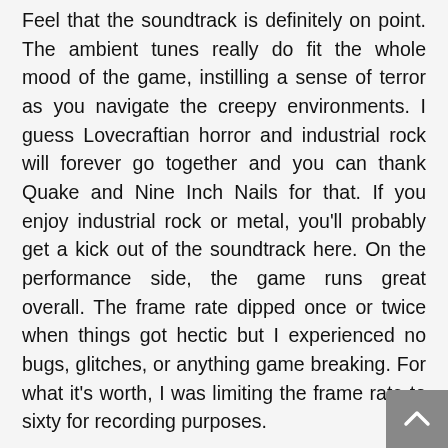Feel that the soundtrack is definitely on point. The ambient tunes really do fit the whole mood of the game, instilling a sense of terror as you navigate the creepy environments. I guess Lovecraftian horror and industrial rock will forever go together and you can thank Quake and Nine Inch Nails for that. If you enjoy industrial rock or metal, you'll probably get a kick out of the soundtrack here. On the performance side, the game runs great overall. The frame rate dipped once or twice when things got hectic but I experienced no bugs, glitches, or anything game breaking. For what it's worth, I was limiting the frame rate to sixty for recording purposes.
Ultimately, I had a lot of fun with what's on offer here and I am looking forward to episode 3. The gameplay in Dusk is fast-paced, action-packed, and it just feels great to play. Most importantly, it's fun from beginning to end. It also contains plenty